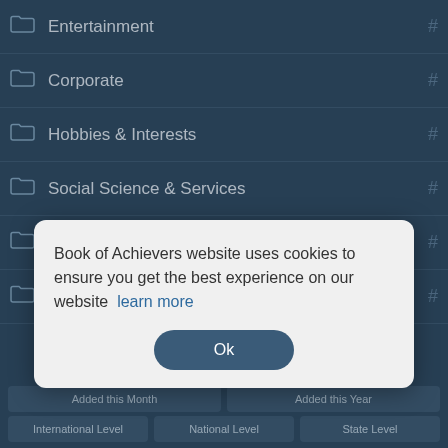Entertainment #
Corporate #
Hobbies & Interests #
Social Science & Services #
Miscellaneous #
All Categories #
[Figure (screenshot): Cookie consent dialog: 'Book of Achievers website uses cookies to ensure you get the best experience on our website learn more' with an Ok button]
Added this Month   Added this Year
International Level   National Level   State Level